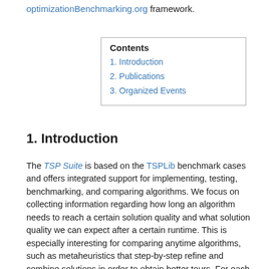optimizationBenchmarking.org framework.
| Contents |
| --- |
| 1. Introduction |
| 2. Publications |
| 3. Organized Events |
1. Introduction
The TSP Suite is based on the TSPLib benchmark cases and offers integrated support for implementing, testing, benchmarking, and comparing algorithms. We focus on collecting information regarding how long an algorithm needs to reach a certain solution quality and what solution quality we can expect after a certain runtime. This is especially interesting for comparing anytime algorithms, such as metaheuristics that step-by-step refine and combine solutions in order to obtain better tours. For each algorithm tested, comprehensive logging information is collected regarding not only the solution quality and runtime (according to different time measures such as FEs and real time), but also the environment the algorithm was executed in and the parameters of the algorithm, rendering each log file self-explaining. TSPSuite contains an evaluator utility which can load these log files and create a LaTeX or XHTML document summarizing an algorithm's performance from different perspectives and comparing